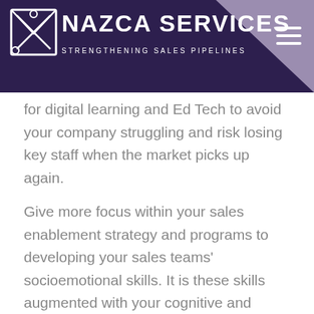NAZCA SERVICES — STRENGTHENING SALES PIPELINES
for digital learning and Ed Tech to avoid your company struggling and risk losing key staff when the market picks up again.
Give more focus within your sales enablement strategy and programs to developing your sales teams' socioemotional skills. It is these skills augmented with your cognitive and product training that will better position your company to manage through this crisis and bring about the change you need to remain competitive.
EdTech will help keep your sales enablement